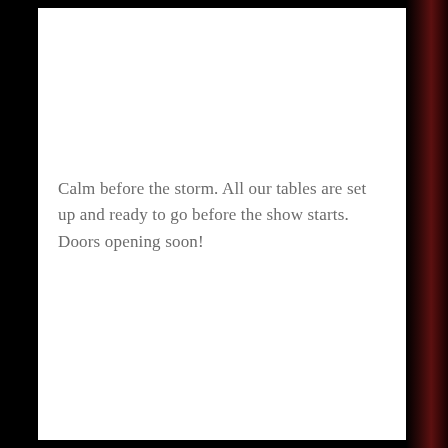Calm before the storm. All our tables are set up and ready to go before the show starts. Doors opening soon!